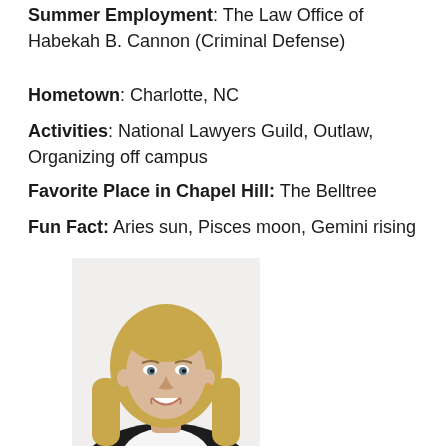Summer Employment: The Law Office of Habekah B. Cannon (Criminal Defense)
Hometown: Charlotte, NC
Activities: National Lawyers Guild, Outlaw, Organizing off campus
Favorite Place in Chapel Hill: The Belltree
Fun Fact: Aries sun, Pisces moon, Gemini rising
[Figure (photo): Professional headshot of a young woman with long blonde hair, smiling, wearing a dark blazer and white top, against a white background]